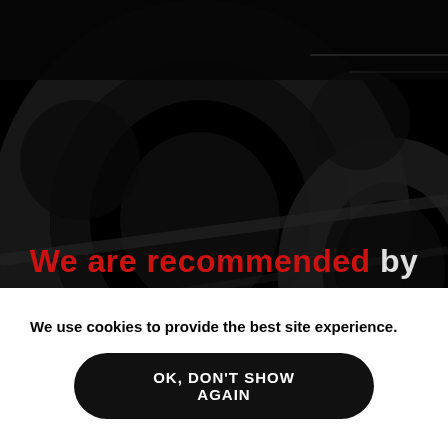[Figure (photo): Dark background photo of gym equipment, primarily showing what appears to be weight plates or fitness equipment in very dark, nearly black tones with subtle circular shapes visible]
We are recommended by
os
We use cookies to provide the best site experience.
OK, DON'T SHOW AGAIN